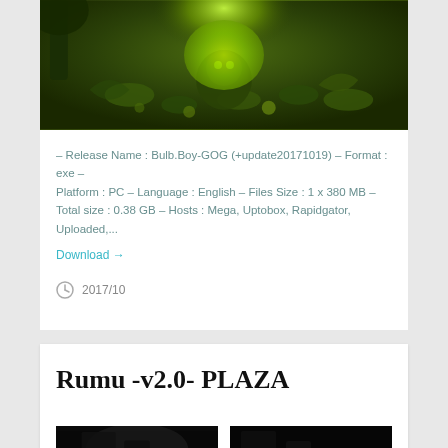[Figure (illustration): Dark fantasy game artwork showing greenish creatures, worms, and a glowing light in a murky environment]
– Release Name : Bulb.Boy-GOG (+update20171019) – Format : exe – Platform : PC – Language : English – Files Size : 1 x 380 MB – Total size : 0.38 GB – Hosts : Mega, Uptobox, Rapidgator, Uploaded,...
Download →
2017/10
Rumu -v2.0- PLAZA
[Figure (screenshot): Two dark game screenshots side by side, showing dark environments]